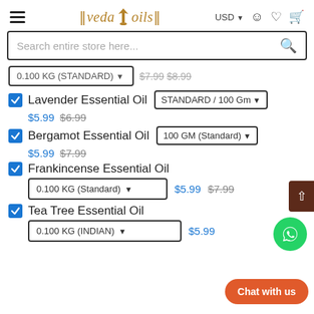VedaOils - USD - Search entire store here...
0.100 KG (STANDARD) - $7.99 $8.99
Lavender Essential Oil - STANDARD / 100 Gm - $5.99 $6.99
Bergamot Essential Oil - 100 GM (Standard) - $5.99 $7.99
Frankincense Essential Oil - 0.100 KG (Standard) - $5.99 $7.99
Tea Tree Essential Oil - 0.100 KG (INDIAN) - $5.99